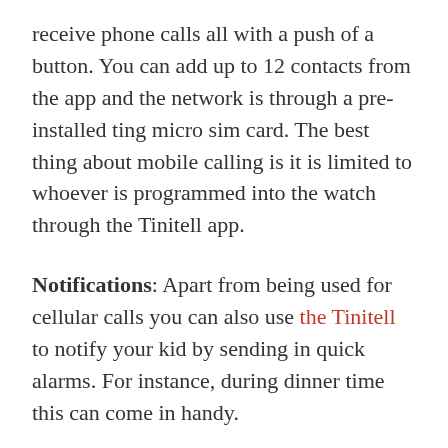receive phone calls all with a push of a button. You can add up to 12 contacts from the app and the network is through a pre-installed ting micro sim card. The best thing about mobile calling is it is limited to whoever is programmed into the watch through the Tinitell app.
Notifications: Apart from being used for cellular calls you can also use the Tinitell to notify your kid by sending in quick alarms. For instance, during dinner time this can come in handy.